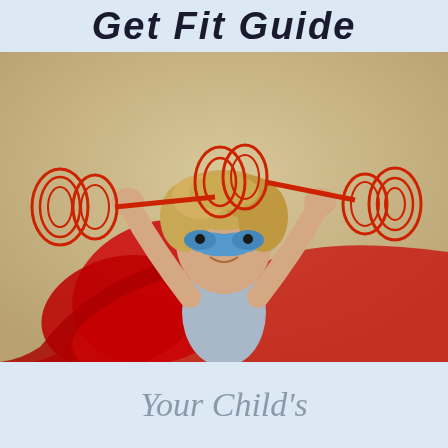Get Fit Guide
[Figure (photo): Child dressed as a superhero with blue mask and red cape, arms raised holding a drawn/illustrated barbell overhead. Background is warm beige/tan wall.]
Your Child's